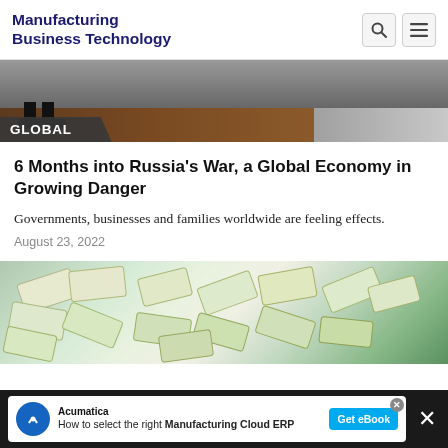Manufacturing Business Technology
[Figure (photo): Photo showing feet/legs of a person standing near a wall or barrier, top portion cropped]
GLOBAL
6 Months into Russia's War, a Global Economy in Growing Danger
Governments, businesses and families worldwide are feeling effects.
August 23, 2022
[Figure (photo): Close-up photo of scattered paper currency (money) on a surface with green/teal background]
How to select the right Manufacturing Cloud ERP  Get eBook  Acumatica